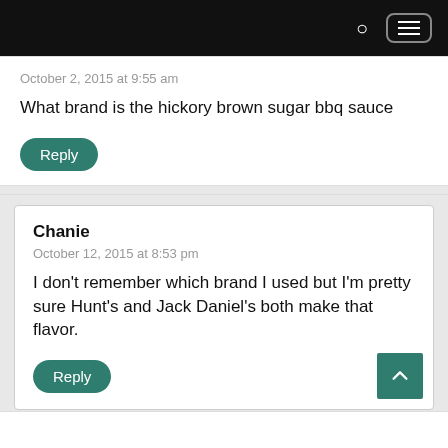October 2, 2015 at 9:55 am
What brand is the hickory brown sugar bbq sauce
Reply
Chanie
October 12, 2015 at 8:53 pm
I don't remember which brand I used but I'm pretty sure Hunt's and Jack Daniel's both make that flavor.
Reply